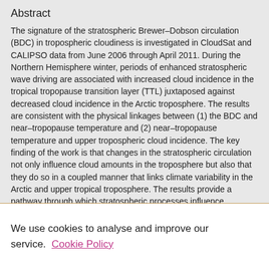Abstract
The signature of the stratospheric Brewer–Dobson circulation (BDC) in tropospheric cloudiness is investigated in CloudSat and CALIPSO data from June 2006 through April 2011. During the Northern Hemisphere winter, periods of enhanced stratospheric wave driving are associated with increased cloud incidence in the tropical tropopause transition layer (TTL) juxtaposed against decreased cloud incidence in the Arctic troposphere. The results are consistent with the physical linkages between (1) the BDC and near–tropopause temperature and (2) near–tropopause temperature and upper tropospheric cloud incidence. The key finding of the work is that changes in the stratospheric circulation not only influence cloud amounts in the troposphere but also that they do so in a coupled manner that links climate variability in the Arctic and upper tropical troposphere. The results provide a pathway through which stratospheric processes influence tropospheric climate that is in addition to stratosphere/troposphere dynamical
We use cookies to analyse and improve our service. Cookie Policy